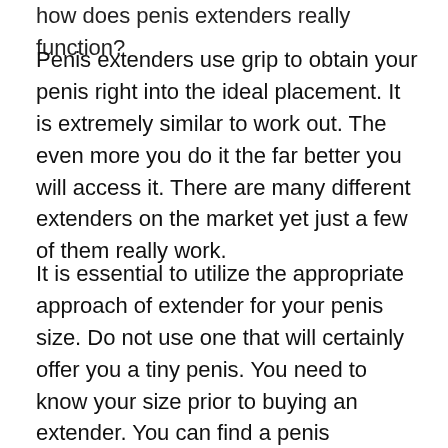how does penis extenders really function?
Penis extenders use grip to obtain your penis right into the ideal placement. It is extremely similar to work out. The even more you do it the far better you will access it. There are many different extenders on the market yet just a few of them really work.
It is essential to utilize the appropriate approach of extender for your penis size. Do not use one that will certainly offer you a tiny penis. You need to know your size prior to buying an extender. You can find a penis extender for your penis size by using the dimensions provided on the back of your item.